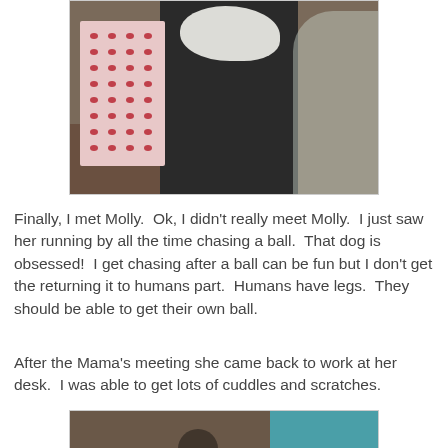[Figure (photo): Sepia-toned photo of a white fluffy cat or dog near a pink polka-dot box and dark fabric, with plastic wrap visible on the right side]
Finally, I met Molly.  Ok, I didn't really meet Molly.  I just saw her running by all the time chasing a ball.  That dog is obsessed!  I get chasing after a ball can be fun but I don't get the returning it to humans part.  Humans have legs.  They should be able to get their own ball.
After the Mama's meeting she came back to work at her desk.  I was able to get lots of cuddles and scratches.
[Figure (photo): Partial photo showing a cat at a desk with a teal/blue background element visible]